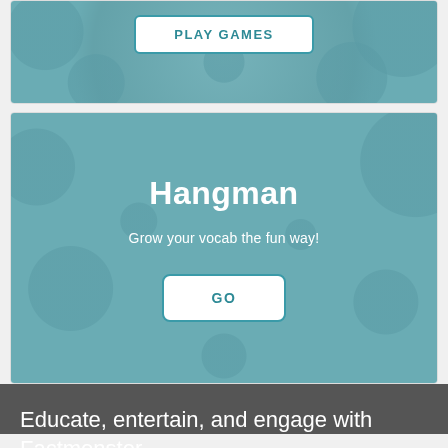[Figure (screenshot): Teal card with 'PLAY GAMES' button partially visible at top]
[Figure (screenshot): Hangman game card on teal polka-dot background with title 'Hangman', subtitle 'Grow your vocab the fun way!' and a GO button]
Educate, entertain, and engage with Factmonster.
Enter your search here?
SEARCH